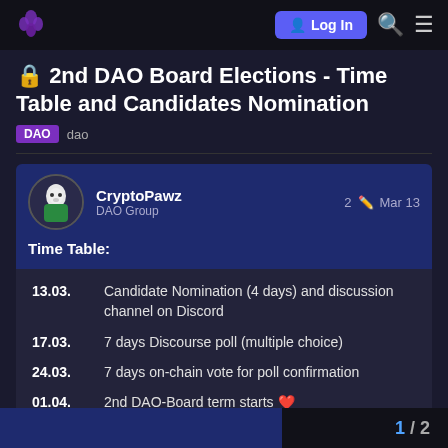Log In
🔒 2nd DAO Board Elections - Time Table and Candidates Nomination
DAO  dao
CryptoPawz  DAO Group  2  Mar 13
Time Table:
13.03.    Candidate Nomination (4 days) and discussion channel on Discord
17.03.    7 days Discourse poll (multiple choice)
24.03.    7 days on-chain vote for poll confirmation
01.04.    2nd DAO-Board term starts ❤️
1 / 2